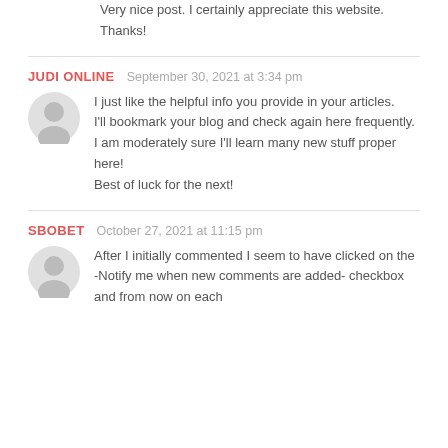Very nice post. I certainly appreciate this website. Thanks!
JUDI ONLINE    September 30, 2021 at 3:34 pm
I just like the helpful info you provide in your articles.
I'll bookmark your blog and check again here frequently.
I am moderately sure I'll learn many new stuff proper here!
Best of luck for the next!
SBOBET    October 27, 2021 at 11:15 pm
After I initially commented I seem to have clicked on the -Notify me when new comments are added- checkbox and from now on each